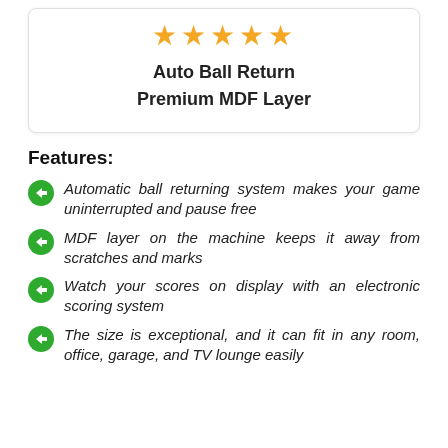[Figure (other): Five gold star rating icons]
Auto Ball Return
Premium MDF Layer
Features:
Automatic ball returning system makes your game uninterrupted and pause free
MDF layer on the machine keeps it away from scratches and marks
Watch your scores on display with an electronic scoring system
The size is exceptional, and it can fit in any room, office, garage, and TV lounge easily